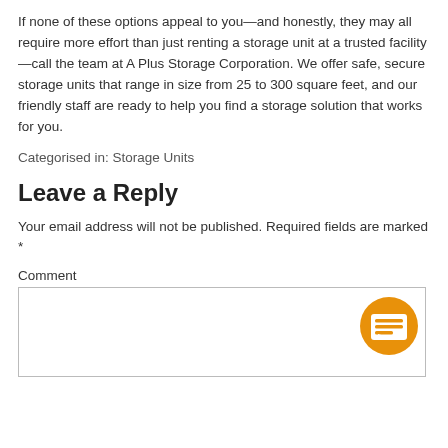If none of these options appeal to you—and honestly, they may all require more effort than just renting a storage unit at a trusted facility—call the team at A Plus Storage Corporation. We offer safe, secure storage units that range in size from 25 to 300 square feet, and our friendly staff are ready to help you find a storage solution that works for you.
Categorised in: Storage Units
Leave a Reply
Your email address will not be published. Required fields are marked *
Comment
[Figure (illustration): Orange circle chat/comment icon with speech bubble graphic inside, positioned in bottom-right corner of comment text area]